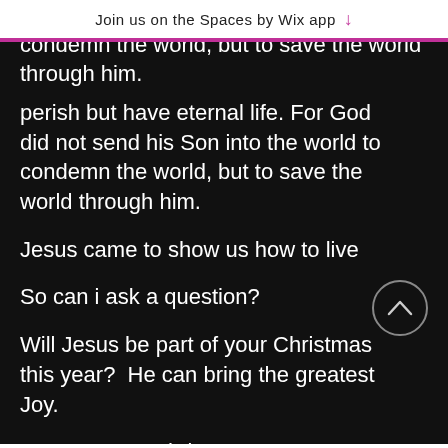Join us on the Spaces by Wix app
perish but have eternal life. For God did not send his Son into the world to condemn the world, but to save the world through him.
Jesus came to show us how to live
So can i ask a question?
Will Jesus be part of your Christmas this year?  He can bring the greatest Joy.
Have a great Christmas.